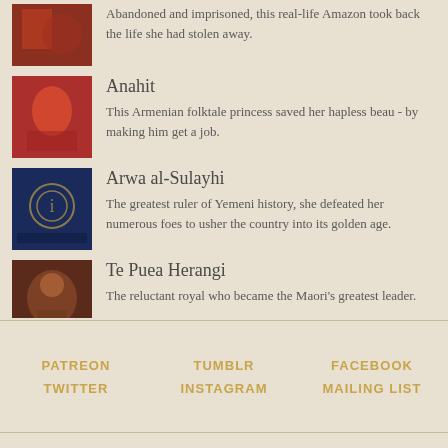[Figure (illustration): Red/orange toned illustration thumbnail, partially visible at top]
Abandoned and imprisoned, this real-life Amazon took back the life she had stolen away.
[Figure (illustration): Illustration of a woman in red dress, Armenian style]
Anahit
This Armenian folktale princess saved her hapless beau - by making him get a job.
[Figure (illustration): Dark blue illustration with decorative emblem]
Arwa al-Sulayhi
The greatest ruler of Yemeni history, she defeated her numerous foes to usher the country into its golden age.
[Figure (illustration): Warm toned illustration of woman with ornate headdress]
Te Puea Herangi
The reluctant royal who became the Maori's greatest leader.
[Figure (illustration): Dark blue illustration with decorative emblem, Funmilayo Ransome-Kuti]
Funmilayo Ransome-Kuti
Through years of unrelenting protest, this Nigerian teacher felled a king, won women the right to vote, and taught all of Africa how to protest.
PATREON   TUMBLR   FACEBOOK   TWITTER   INSTAGRAM   MAILING LIST